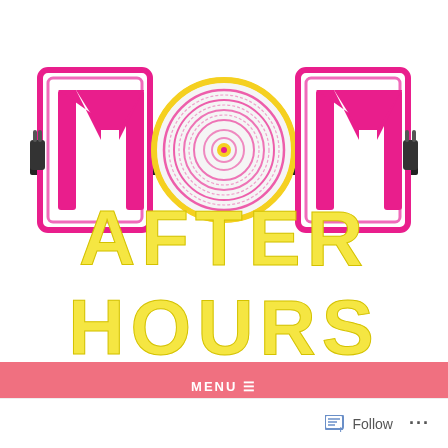[Figure (logo): MOM After Hours logo. Large stylized letters M-O-M in hot pink with neon outline effect on white background. The O is replaced by a vinyl record disc illustration in pink and yellow. Black horizontal lines cross through the letters like neon light tubes. Below the logo, the text AFTER HOURS appears in large bold yellow outlined letters.]
MENU ☰
Follow ...